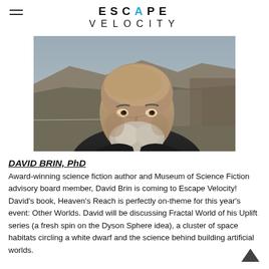ESCAPE VELOCITY
[Figure (photo): Headshot photograph of David Brin, a middle-aged man with a shaved head and grey-white beard, wearing a black jacket, with a rocky mountain landscape in the background.]
DAVID BRIN, PhD
Award-winning science fiction author and Museum of Science Fiction advisory board member, David Brin is coming to Escape Velocity! David's book, Heaven's Reach is perfectly on-theme for this year's event: Other Worlds. David will be discussing Fractal World of his Uplift series (a fresh spin on the Dyson Sphere idea), a cluster of space habitats circling a white dwarf and the science behind building artificial worlds.